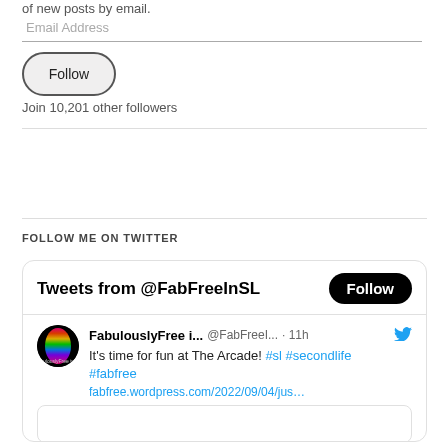of new posts by email.
Email Address
Follow
Join 10,201 other followers
FOLLOW ME ON TWITTER
[Figure (screenshot): Twitter widget showing 'Tweets from @FabFreeInSL' with a Follow button, and a tweet from FabulouslyFree i... @FabFreeI... 11h saying 'It’s time for fun at The Arcade! #sl #secondlife #fabfree fabfree.wordpress.com/2022/09/04/jus...' with a partial image below]